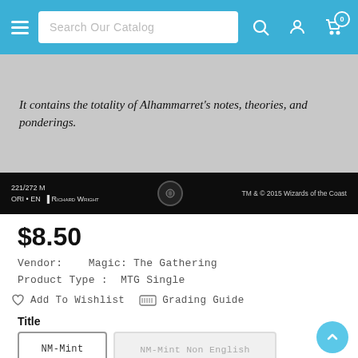Search Our Catalog
[Figure (photo): Magic: The Gathering card bottom showing flavor text: 'It contains the totality of Alhammarret's notes, theories, and ponderings.' Card number 221/272 M, ORI EN, Richard Wright, TM & © 2015 Wizards of the Coast]
$8.50
Vendor:   Magic: The Gathering
Product Type :  MTG Single
♡  Add To Wishlist     ☐  Grading Guide
Title
NM-Mint
NM-Mint Non English
NM-Mint Foil
NM-Mint Foil Non English